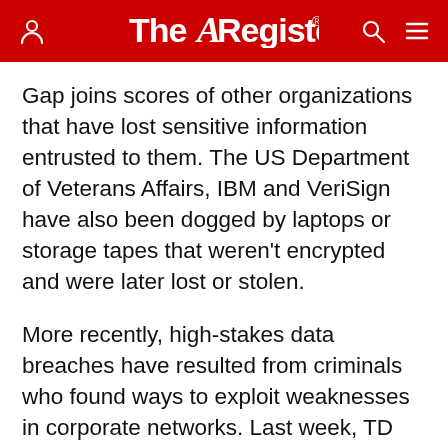The Register
Gap joins scores of other organizations that have lost sensitive information entrusted to them. The US Department of Veterans Affairs, IBM and VeriSign have also been dogged by laptops or storage tapes that weren't encrypted and were later lost or stolen.
More recently, high-stakes data breaches have resulted from criminals who found ways to exploit weaknesses in corporate networks. Last week, TD Ameritrade said hackers infiltrated a database containing social security numbers, birth dates and account numbers on an undisclosed number of clients. And in August, cyber gumshoes discovered a Trojan that stole more than 1.3